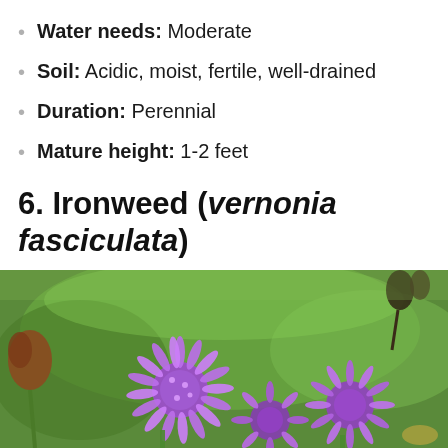Water needs: Moderate
Soil: Acidic, moist, fertile, well-drained
Duration: Perennial
Mature height: 1-2 feet
6. Ironweed (vernonia fasciculata)
[Figure (photo): Close-up photograph of purple ironweed (vernonia fasciculata) flowers in bloom against a green blurred background]